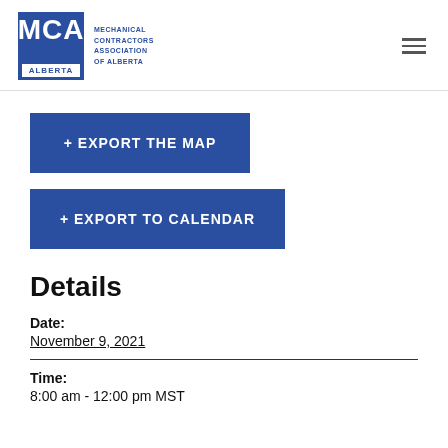MCA Alberta - Mechanical Contractors Association of Alberta
+ EXPORT THE MAP
+ EXPORT TO CALENDAR
Details
Date:
November 9, 2021
Time:
8:00 am - 12:00 pm MST